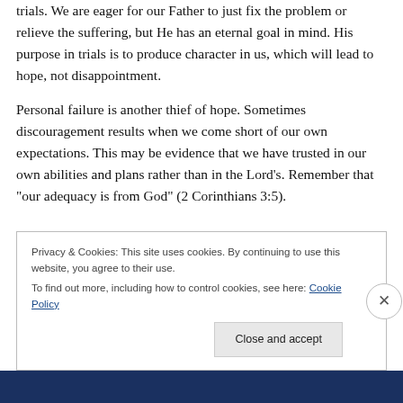trials. We are eager for our Father to just fix the problem or relieve the suffering, but He has an eternal goal in mind. His purpose in trials is to produce character in us, which will lead to hope, not disappointment.
Personal failure is another thief of hope. Sometimes discouragement results when we come short of our own expectations. This may be evidence that we have trusted in our own abilities and plans rather than in the Lord's. Remember that “our adequacy is from God” (2 Corinthians 3:5).
Privacy & Cookies: This site uses cookies. By continuing to use this website, you agree to their use.
To find out more, including how to control cookies, see here: Cookie Policy